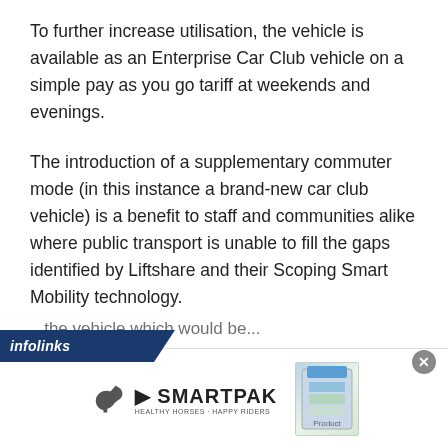To further increase utilisation, the vehicle is available as an Enterprise Car Club vehicle on a simple pay as you go tariff at weekends and evenings.
The introduction of a supplementary commuter mode (in this instance a brand-new car club vehicle) is a benefit to staff and communities alike where public transport is unable to fill the gaps identified by Liftshare and their Scoping Smart Mobility technology.
[Figure (screenshot): Infolinks ad banner with SmartPak advertisement showing logo with horse icon and product image, with a close button]